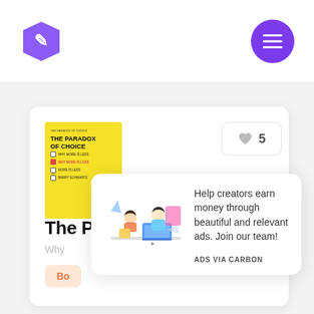[Figure (logo): Purple hexagonal badge with a pencil/edit icon in white]
[Figure (other): Purple circular menu button with three horizontal white lines (hamburger icon)]
[Figure (illustration): Yellow book cover for 'The Paradox of Choice' by Barry Schwartz, with checkbox items listed]
[Figure (other): Heart icon like button with count 5]
The Paradox of Choice
Why
Bo
[Figure (illustration): Two people working at a desk with a laptop, illustration for ad]
Help creators earn money through beautiful and relevant ads. Join our team!
ADS VIA CARBON